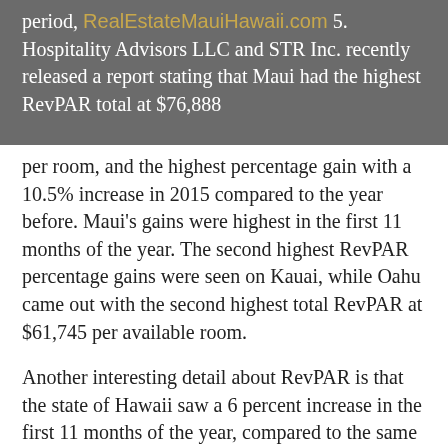RealEstateMauiHawaii.com
period, Maui hotels were on top in 2015. Hospitality Advisors LLC and STR Inc. recently released a report stating that Maui had the highest RevPAR total at $76,888 per room, and the highest percentage gain with a 10.5% increase in 2015 compared to the year before. Maui's gains were highest in the first 11 months of the year. The second highest RevPAR percentage gains were seen on Kauai, while Oahu came out with the second highest total RevPAR at $61,745 per available room.
Another interesting detail about RevPAR is that the state of Hawaii saw a 6 percent increase in the first 11 months of the year, compared to the same period last year. It's